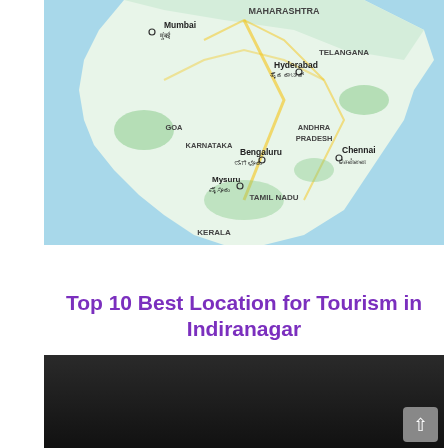[Figure (map): Map of South India showing states Maharashtra, Telangana, Goa, Karnataka, Andhra Pradesh, Tamil Nadu, Kerala with cities Mumbai, Hyderabad, Bengaluru, Chennai, Mysuru labeled in English and regional scripts]
Top 10 Best Location for Tourism in Indiranagar
[Figure (photo): Dark/black image, bottom section partially visible]